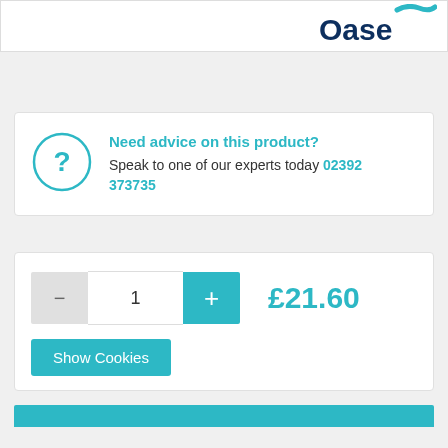[Figure (logo): Oase brand logo with teal wave swoosh on white header bar]
Need advice on this product? Speak to one of our experts today 02392 373735
1
£21.60
Show Cookies